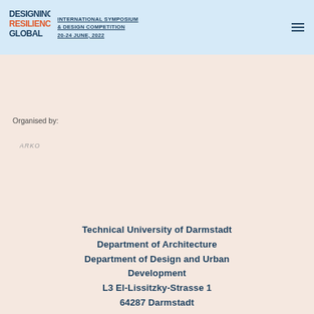INTERNATIONAL SYMPOSIUM & DESIGN COMPETITION 20-24 JUNE, 2022
[Figure (logo): Designing Resilience Global logo — stylized text logo in dark blue]
Organised by:
[Figure (logo): Small organizational logo (ARKO or similar) in grey/silver italic text]
Technical University of Darmstadt
Department of Architecture
Department of Design and Urban Development
L3 El-Lissitzky-Strasse 1
64287 Darmstadt
Partner:
[Figure (logo): Partial partner logo with coloured dots (orange, blue, green) at bottom of page]